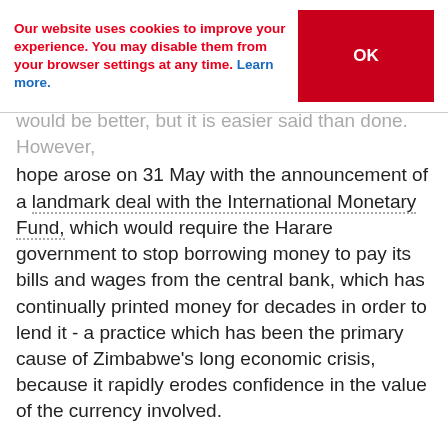Our website uses cookies to improve your experience. You may disable them from your browser settings at any time. Learn more. [OK button]
would be better, but it is easier said than done. However, hope arose on 31 May with the announcement of a landmark deal with the International Monetary Fund, which would require the Harare government to stop borrowing money to pay its bills and wages from the central bank, which has continually printed money for decades in order to lend it - a practice which has been the primary cause of Zimbabwe's long economic crisis, because it rapidly erodes confidence in the value of the currency involved.
Where the government will find alternative funds from is more difficult to work out, but the hope is that by stopping money printing, inflation will quickly fall, exchange rates will settle (and eventually converge), confidence in the RTGS$'s worth will rise, and investment might be attracted to get the economy - and